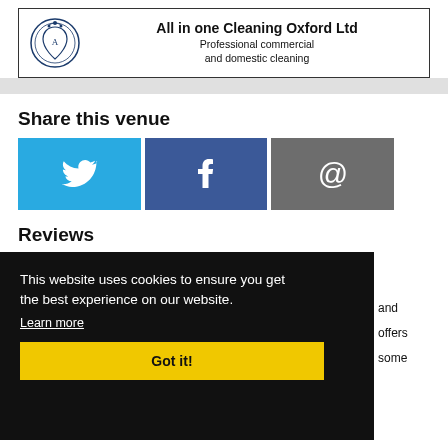[Figure (logo): All in one Cleaning Oxford Ltd advertisement banner with crest logo, bold title and subtitle 'Professional commercial and domestic cleaning']
Share this venue
[Figure (infographic): Three social sharing buttons: Twitter (blue bird icon), Facebook (dark blue f icon), Email (gray @ icon)]
Reviews
This website uses cookies to ensure you get the best experience on our website. Learn more Got it!
and offers some
The décor is sort of dated-modern in an inviting and